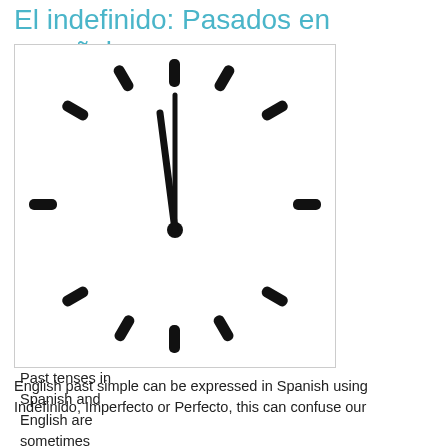El indefinido: Pasados en español
[Figure (illustration): An analog clock face without numbers, showing hands pointing approximately to 12 o'clock (minute hand straight up, hour hand pointing to about 12 as well), with tick marks for each hour position around the square clock face.]
Past tenses in Spanish and English are sometimes different in perspective and conception.
English past simple can be expressed in Spanish using Indefinido, Imperfecto or Perfecto, this can confuse our